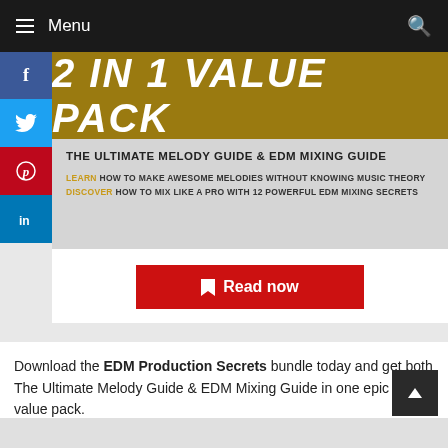Menu
[Figure (illustration): 2 IN 1 VALUE PACK promotional banner with gold top section and gray bottom section. Top shows bold italic white text '2 IN 1 VALUE PACK'. Bottom shows black bold uppercase text 'THE ULTIMATE MELODY GUIDE & EDM MIXING GUIDE' and two lines: 'LEARN HOW TO MAKE AWESOME MELODIES WITHOUT KNOWING MUSIC THEORY' and 'DISCOVER HOW TO MIX LIKE A PRO WITH 12 POWERFUL EDM MIXING SECRETS']
[Figure (other): Red 'Read now' button with bookmark icon]
Download the EDM Production Secrets bundle today and get both The Ultimate Melody Guide & EDM Mixing Guide in one epic high-value pack.